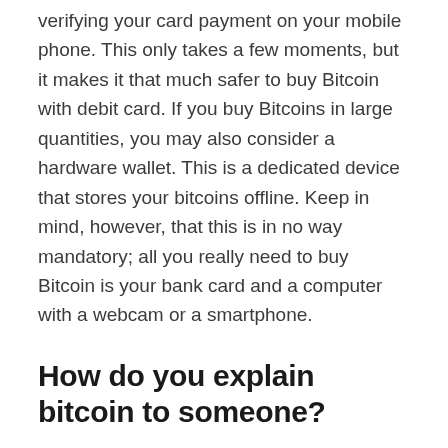verifying your card payment on your mobile phone. This only takes a few moments, but it makes it that much safer to buy Bitcoin with debit card. If you buy Bitcoins in large quantities, you may also consider a hardware wallet. This is a dedicated device that stores your bitcoins offline. Keep in mind, however, that this is in no way mandatory; all you really need to buy Bitcoin is your bank card and a computer with a webcam or a smartphone.
How do you explain bitcoin to someone?
Bitcoin, often described as a cryptocurrency, a virtual currency or a digital currency – is a type of money that is completely virtual. It's like an online version of cash.